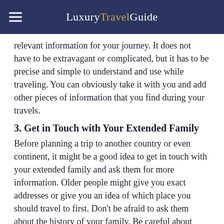Luxury Travel Guide
relevant information for your journey. It does not have to be extravagant or complicated, but it has to be precise and simple to understand and use while traveling. You can obviously take it with you and add other pieces of information that you find during your travels.
3. Get in Touch with Your Extended Family
Before planning a trip to another country or even continent, it might be a good idea to get in touch with your extended family and ask them for more information. Older people might give you exact addresses or give you an idea of which place you should travel to first. Don't be afraid to ask them about the history of your family. Be careful about what they are saying and write down relevant information. They might even want to join you